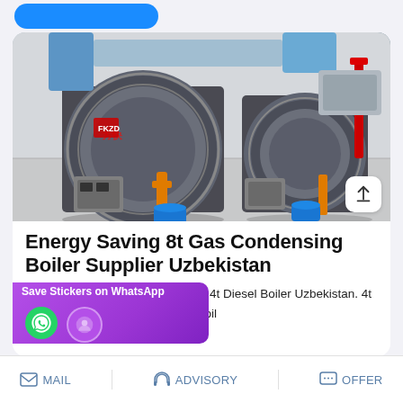[Figure (photo): Industrial gas condensing boilers installation, showing large cylindrical blue/silver boilers with Chinese brand markings, orange gas pipes, red pipes, and control panels in a factory/boiler room setting.]
Energy Saving 8t Gas Condensing Boiler Supplier Uzbekistan
4t Diesel Boiler Uzbekistan. 4t Boiler Supplier Commercial … 4t oil
MAIL   ADVISORY   OFFER